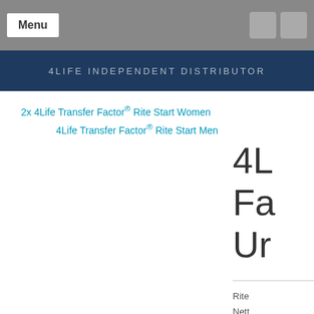Menu
4LIFE INDEPENDENT DISTRIBUTOR
2x 4Life Transfer Factor® Rite Start Women
4Life Transfer Factor® Rite Start Men
4Life Transfer Factor® Ur...
Rite
Nett
x 30
Que
und